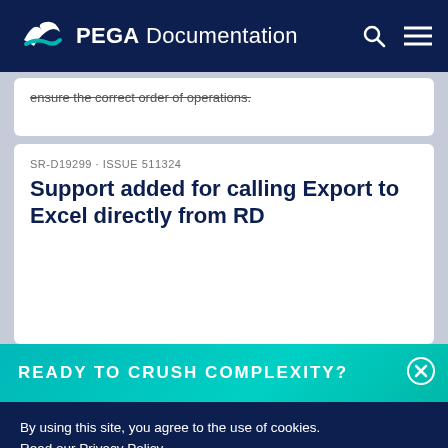PEGA Documentation
ensure the correct order of operations.
SR-D19299 · ISSUE 511324
Support added for calling Export to Excel directly from RD
READY TO CRUSH COMPLEXITY?
By using this site, you agree to the use of cookies. Read our Privacy Policy
Accept and continue  About cookies